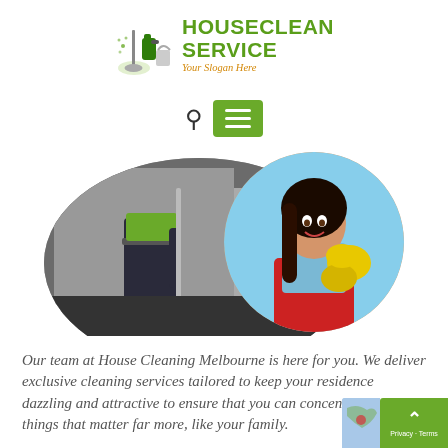[Figure (logo): HouseClean Service logo with cleaning equipment icon, green bold text 'HOUSECLEAN SERVICE' and orange italic slogan 'Your Slogan Here']
[Figure (other): Navigation bar with search icon and green hamburger menu button]
[Figure (photo): Hero image showing two circular-cropped photos: left shows a person in dark pants with a mop/broom near white buckets, right shows a smiling woman in red apron and yellow gloves]
Our team at House Cleaning Melbourne is here for you. We deliver exclusive cleaning services tailored to keep your residence dazzling and attractive to ensure that you can concentrate on things that matter far more, like your family.